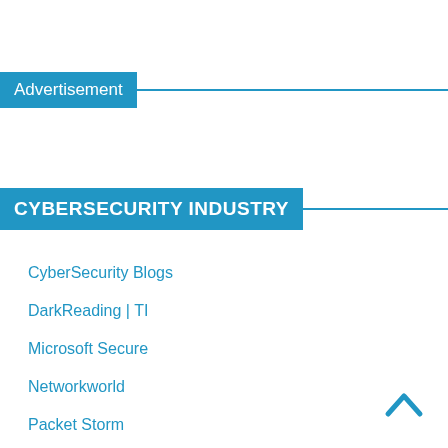Advertisement
CYBERSECURITY INDUSTRY
CyberSecurity Blogs
DarkReading | TI
Microsoft Secure
Networkworld
Packet Storm
Reddit
The Register